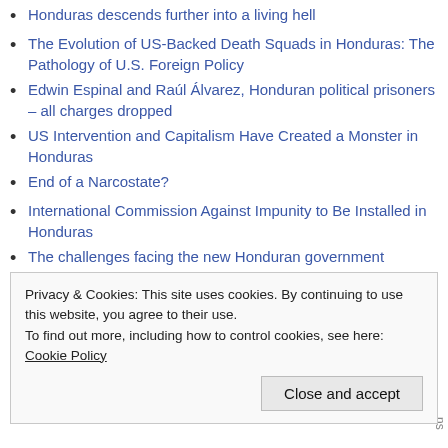Honduras descends further into a living hell
The Evolution of US-Backed Death Squads in Honduras: The Pathology of U.S. Foreign Policy
Edwin Espinal and Raúl Álvarez, Honduran political prisoners – all charges dropped
US Intervention and Capitalism Have Created a Monster in Honduras
End of a Narcostate?
International Commission Against Impunity to Be Installed in Honduras
The challenges facing the new Honduran government
The scale and nature of present day violence
Troublesome environmentalists
Privacy & Cookies: This site uses cookies. By continuing to use this website, you agree to their use.
To find out more, including how to control cookies, see here: Cookie Policy
Close and accept
2016 assassinations of environmental rights defenders in